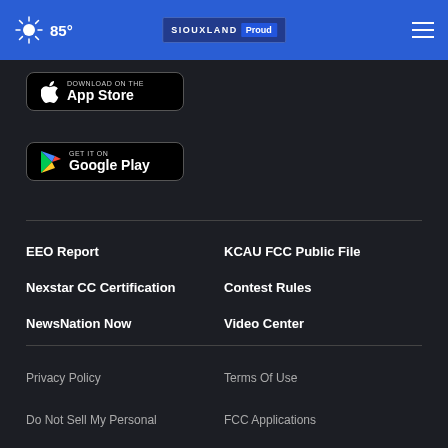85° SIOUXLAND Proud
[Figure (screenshot): Download on the App Store button (black rounded rectangle with Apple logo)]
[Figure (screenshot): Get it on Google Play button (black rounded rectangle with Google Play logo)]
EEO Report
KCAU FCC Public File
Nexstar CC Certification
Contest Rules
NewsNation Now
Video Center
Privacy Policy
Terms Of Use
Do Not Sell My Personal
FCC Applications